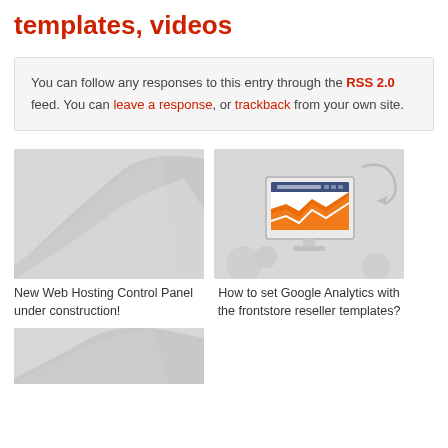templates, videos
You can follow any responses to this entry through the RSS 2.0 feed. You can leave a response, or trackback from your own site.
[Figure (illustration): Decorative gray swoosh background image for New Web Hosting Control Panel under construction card]
New Web Hosting Control Panel under construction!
[Figure (illustration): Monitor icon showing Google Analytics orange chart on screen, gray gear/tech background]
How to set Google Analytics with the frontstore reseller templates?
[Figure (illustration): Partial decorative gray swoosh background image at bottom of page]